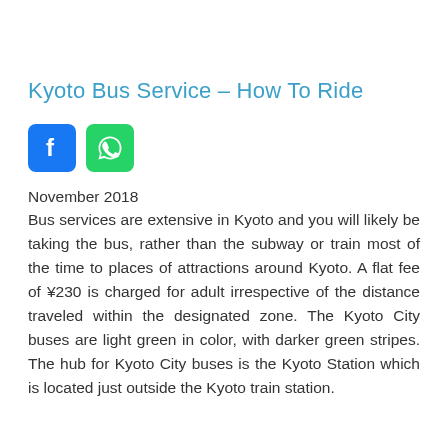Kyoto Bus Service – How To Ride
[Figure (logo): Facebook and WhatsApp social share icons side by side]
November 2018
Bus services are extensive in Kyoto and you will likely be taking the bus, rather than the subway or train most of the time to places of attractions around Kyoto. A flat fee of ¥230 is charged for adult irrespective of the distance traveled within the designated zone. The Kyoto City buses are light green in color, with darker green stripes. The hub for Kyoto City buses is the Kyoto Station which is located just outside the Kyoto train station.